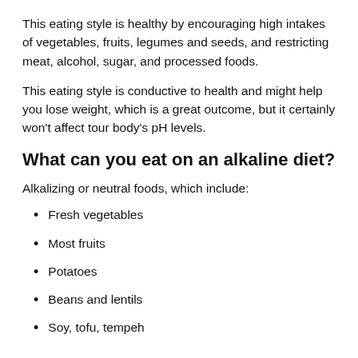This eating style is healthy by encouraging high intakes of vegetables, fruits, legumes and seeds, and restricting meat, alcohol, sugar, and processed foods.
This eating style is conductive to health and might help you lose weight, which is a great outcome, but it certainly won’t affect tour body’s pH levels.
What can you eat on an alkaline diet?
Alkalizing or neutral foods, which include:
Fresh vegetables
Most fruits
Potatoes
Beans and lentils
Soy, tofu, tempeh